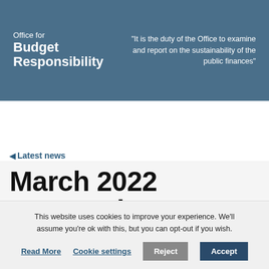Office for Budget Responsibility
"It is the duty of the Office to examine and report on the sustainability of the public finances"
◄ Latest news
March 2022 Economic
This website uses cookies to improve your experience. We'll assume you're ok with this, but you can opt-out if you wish.
Read More   Cookie settings   Reject   Accept